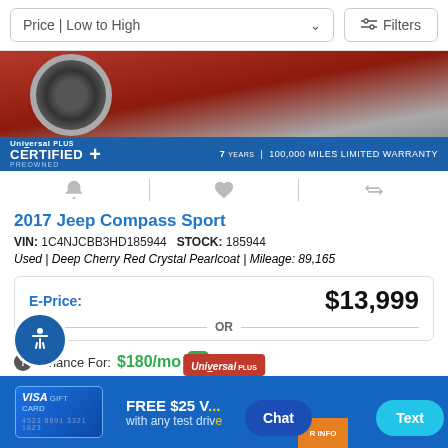Price | Low to High    Filters
[Figure (photo): Partial view of a red Jeep Compass Sport SUV front quarter panel with Universal Plus Certified Pre-Owned badge and warranty bar reading 7 YEARS | 100,000 MILES LIMITED WARRANTY]
2017 Jeep Compass Sport
VIN: 1C4NJCBB3HD185944   STOCK: 185944
Used | Deep Cherry Red Crystal Pearlcoat | Mileage: 89,165
| E-Price: | $13,999 |
| --- | --- |
| OR |  |
| Finance For: | $180/mo |
[Figure (screenshot): Bottom promotional bar with Visa gift card, FREE $25 V... with any test drive, Chat and Text buttons, Universal logo overlay, and accessibility icon]